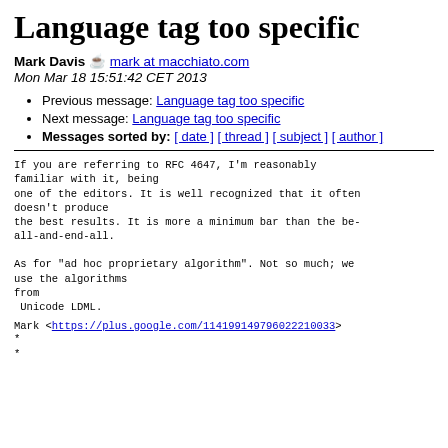Language tag too specific
Mark Davis ☕ mark at macchiato.com
Mon Mar 18 15:51:42 CET 2013
Previous message: Language tag too specific
Next message: Language tag too specific
Messages sorted by: [ date ] [ thread ] [ subject ] [ author ]
If you are referring to RFC 4647, I'm reasonably familiar with it, being
one of the editors. It is well recognized that it often doesn't produce
the best results. It is more a minimum bar than the be-all-and-end-all.

As for "ad hoc proprietary algorithm". Not so much; we use the algorithms
from
 Unicode LDML.
Mark <https://plus.google.com/114199149796022210033>
*
*